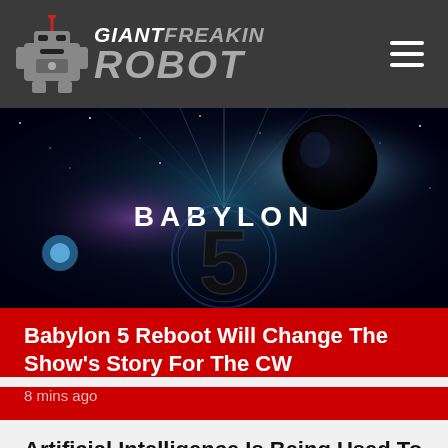GIANT FREAKIN ROBOT
[Figure (screenshot): Babylon 5 sci-fi space scene promotional image with large stylized '5' and 'BABYLON' text, stars and nebula background with glowing light beams]
Babylon 5 Reboot Will Change The Show's Story For The CW
8 mins ago
Artificial Intelligence Is Being Used To Make A Movie
52 mins ago